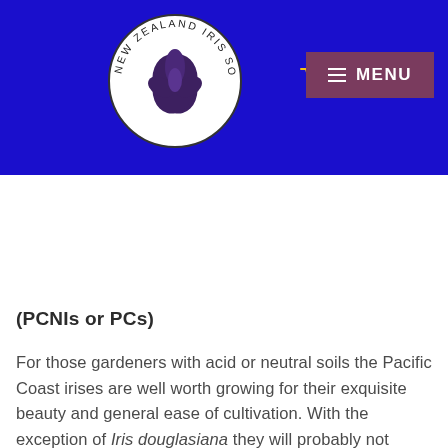[Figure (logo): New Zealand Iris Society circular logo with iris flower in center and text around the border]
(PCNIs or PCs)
For those gardeners with acid or neutral soils the Pacific Coast irises are well worth growing for their exquisite beauty and general ease of cultivation. With the exception of Iris douglasiana they will probably not survive on alkaline soils.